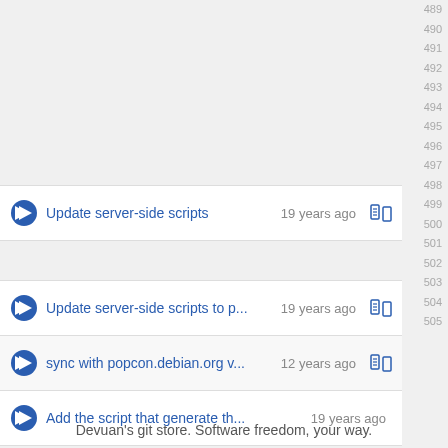Update server-side scripts · 19 years ago
Update server-side scripts to p... · 19 years ago
sync with popcon.debian.org v... · 12 years ago
Add the script that generate th... · 19 years ago
Update example server-side sc... · 18 years ago
Devuan's git store. Software freedom, your way.